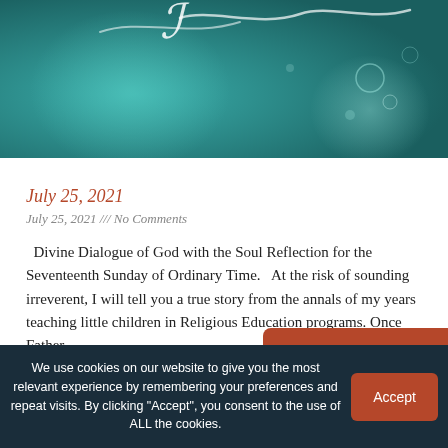[Figure (photo): Teal/dark teal decorative header image with bokeh-like light effects and a partial cursive/script text element visible at top]
July 25, 2021
July 25, 2021 /// No Comments
Divine Dialogue of God with the Soul Reflection for the Seventeenth Sunday of Ordinary Time.   At the risk of sounding irreverent, I will tell you a true story from the annals of my years teaching little children in Religious Education programs. Once Father
Read More »
We use cookies on our website to give you the most relevant experience by remembering your preferences and repeat visits. By clicking "Accept", you consent to the use of ALL the cookies.